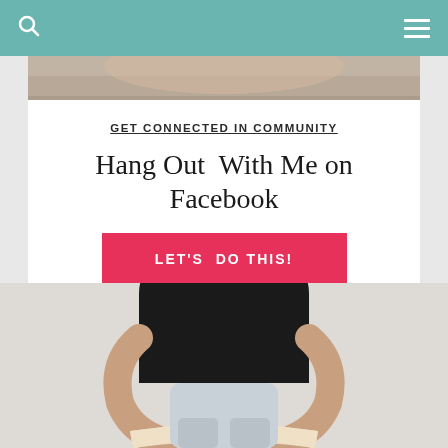Navigation bar with search and menu icons
[Figure (photo): Top portion of a photo showing a person, cropped at shoulder/head area with warm tones]
GET CONNECTED IN COMMUNITY
Hang Out With Me on Facebook
LET'S DO THIS!
[Figure (photo): Woman in black sleeveless top sitting and holding an open book, viewed from chest down, on light grey background]